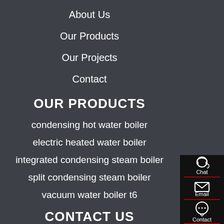About Us
Our Products
Our Projects
Contact
OUR PRODUCTS
condensing hot water boiler
electric heated water boiler
integrated condensing steam boiler
split condensing steam boiler
vacuum water boiler t6
CONTACT US
[Figure (infographic): Right sidebar with three contact options: Chat (headset icon), Email (envelope icon), Contact (speech bubble icon), separated by red dividers]